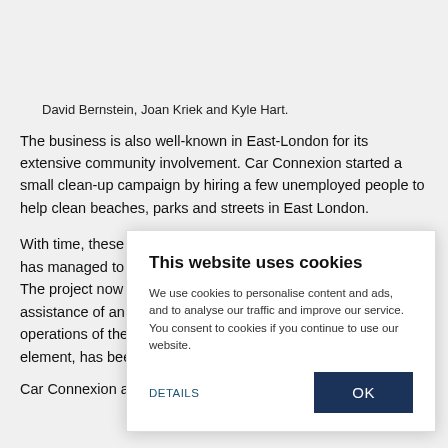David Bernstein, Joan Kriek and Kyle Hart.
The business is also well-known in East-London for its extensive community involvement. Car Connexion started a small clean-up campaign by hiring a few unemployed people to help clean beaches, parks and streets in East London.
With time, these [obscured by cookie banner] has managed to [obscured] The project now [obscured] assistance of an [obscured] operations of the [obscured] element, has been [obscured]
Car Connexion a[obscured]
This website uses cookies
We use cookies to personalise content and ads, and to analyse our traffic and improve our service. You consent to cookies if you continue to use our website.
DETAILS
OK